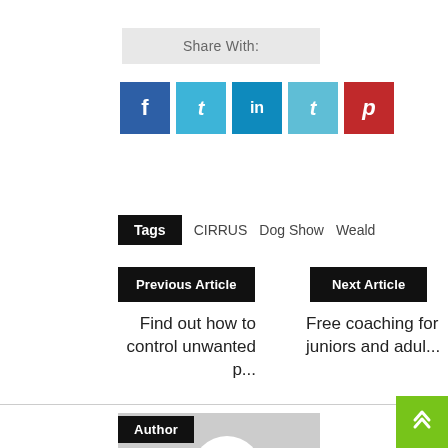Share With:
[Figure (infographic): Social sharing buttons: Facebook (f), Twitter (t bird), LinkedIn (in), Tumblr (t), Pinterest (p)]
Tags  CIRRUS  Dog Show  Weald
Previous Article
Next Article
Find out how to control unwanted p...
Free coaching for juniors and adul...
Author